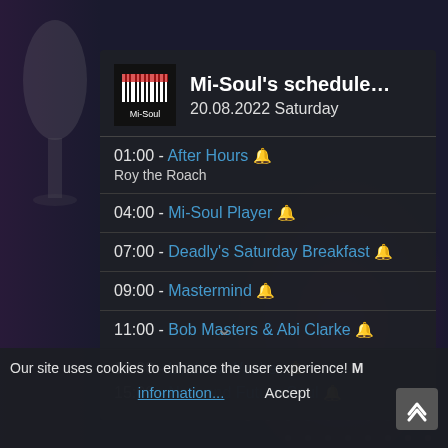Mi-Soul's schedule…
20.08.2022 Saturday
01:00 - After Hours 🔔
Roy the Roach
04:00 - Mi-Soul Player 🔔
07:00 - Deadly's Saturday Breakfast 🔔
09:00 - Mastermind 🔔
11:00 - Bob Masters & Abi Clarke 🔔
13:00 - Lindsay Wesker 🔔
15:00 - New and Future Soul 🔔
Our site uses cookies to enhance the user experience! M
information...
Accept